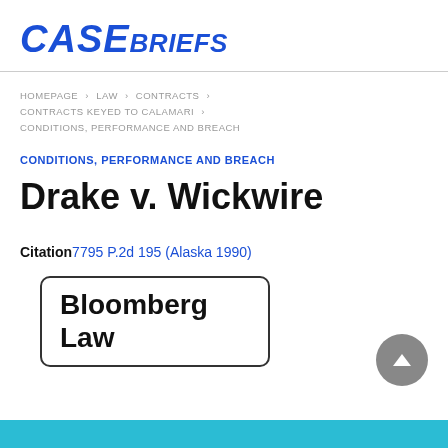CASEBRIEFS
HOMEPAGE > LAW > CONTRACTS > CONTRACTS KEYED TO CALAMARI > CONDITIONS, PERFORMANCE AND BREACH
CONDITIONS, PERFORMANCE AND BREACH
Drake v. Wickwire
Citation 7795 P.2d 195 (Alaska 1990)
[Figure (logo): Bloomberg Law logo in a rounded rectangle box]